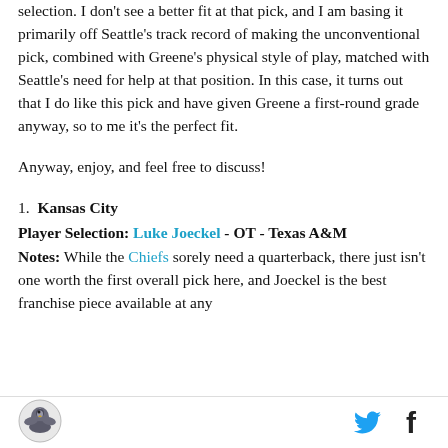selection. I don't see a better fit at that pick, and I am basing it primarily off Seattle's track record of making the unconventional pick, combined with Greene's physical style of play, matched with Seattle's need for help at that position. In this case, it turns out that I do like this pick and have given Greene a first-round grade anyway, so to me it's the perfect fit.
Anyway, enjoy, and feel free to discuss!
1. Kansas City
Player Selection: Luke Joeckel - OT - Texas A&M
Notes: While the Chiefs sorely need a quarterback, there just isn't one worth the first overall pick here, and Joeckel is the best franchise piece available at any
[Figure (logo): Sports website logo with eagle/bird emblem]
[Figure (logo): Twitter bird icon in blue]
[Figure (logo): Facebook f icon in dark blue/black]